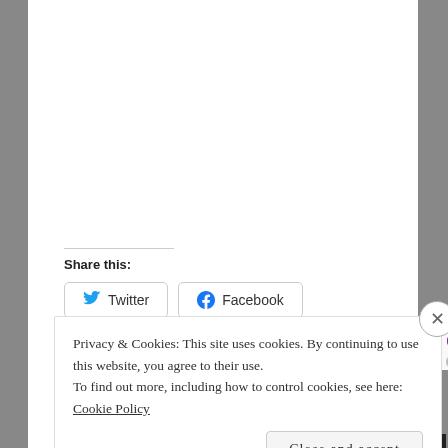Share this:
Twitter
Facebook
Like
15 bloggers like this.
Privacy & Cookies: This site uses cookies. By continuing to use this website, you agree to their use.
To find out more, including how to control cookies, see here: Cookie Policy
Close and accept